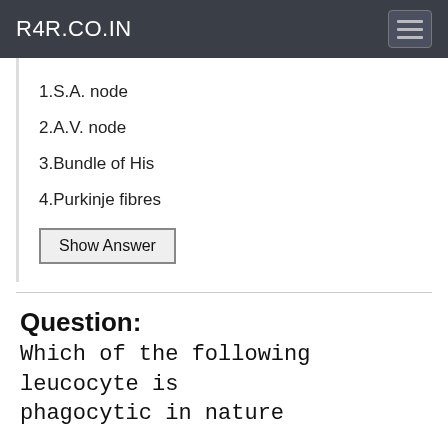R4R.CO.IN
1.S.A. node
2.A.V. node
3.Bundle of His
4.Purkinje fibres
Show Answer
Question:
Which of the following leucocyte is phagocytic in nature